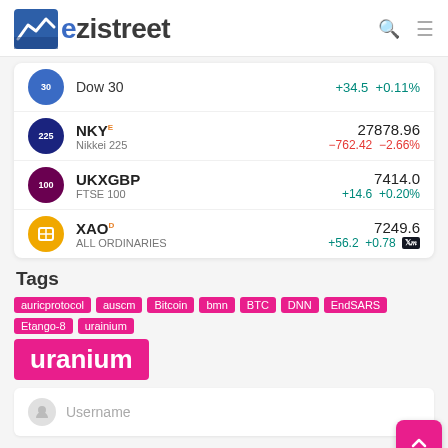ezistreet
| Index | Symbol | Price | Change | Change% |
| --- | --- | --- | --- | --- |
| Dow 30 | Dow 30 |  | +34.5 | +0.11% |
| NKY | Nikkei 225 | 27878.96 | −762.42 | −2.66% |
| UKXGBP | FTSE 100 | 7414.0 | +14.6 | +0.20% |
| XAO | ALL ORDINARIES | 7249.6 | +56.2 | +0.78 |
Tags
auricprotocol
auscm
Bitcoin
bmn
BTC
DNN
EndSARS
Etango-8
urainium
uranium
Username